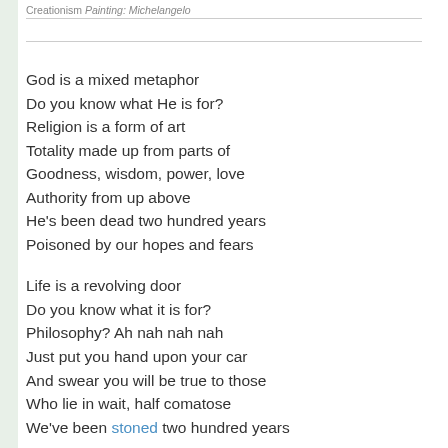Creationism Painting: Michelangelo
God is a mixed metaphor
Do you know what He is for?
Religion is a form of art
Totality made up from parts of
Goodness, wisdom, power, love
Authority from up above
He's been dead two hundred years
Poisoned by our hopes and fears

Life is a revolving door
Do you know what it is for?
Philosophy? Ah nah nah nah
Just put you hand upon your car
And swear you will be true to those
Who lie in wait, half comatose
We've been stoned two hundred years